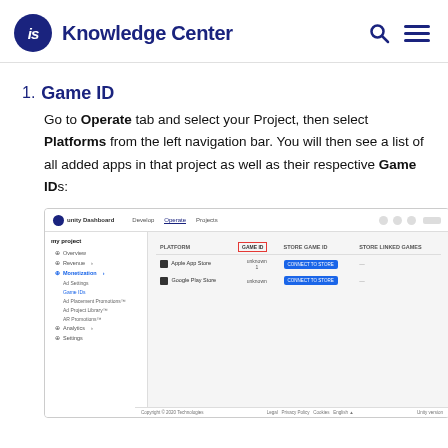is Knowledge Center
1. Game ID
Go to Operate tab and select your Project, then select Platforms from the left navigation bar. You will then see a list of all added apps in that project as well as their respective Game IDs:
[Figure (screenshot): Unity Dashboard screenshot showing the Operate tab with Platforms section selected, displaying a table of platforms with their Game IDs and highlighted Game ID column outlined in red.]